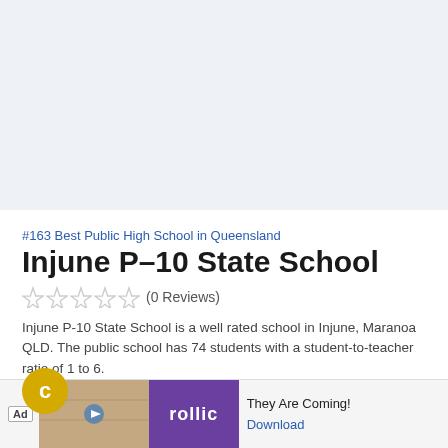[Figure (other): Light blue-grey top banner area (placeholder image area)]
#163 Best Public High School in Queensland
Injune P-10 State School
☆☆☆☆☆ (0 Reviews)
Injune P-10 State School is a well rated school in Injune, Maranoa QLD. The public school has 74 students with a student-to-teacher ratio of 1 to 6.
[Figure (other): Advertisement banner at bottom showing Rollic game ad with 'They Are Coming!' text and Download link]